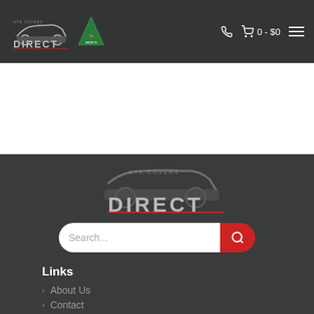UTE COVERS DIRECT — navigation header with logo, phone, cart (0 - $0), hamburger menu
[Figure (logo): Dark header bar with Ute Covers Direct logo (car silhouette + DIRECT text + Australian map logo), phone icon, cart icon showing 0 - $0, and hamburger menu icon]
[Figure (logo): Footer area with large Ute Covers Direct logo in dark background]
[Figure (other): Search bar with white input field and red search button with magnifying glass icon]
Links
About Us
Contact (partially visible)